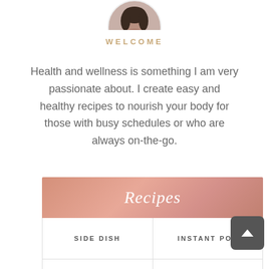[Figure (photo): Partial circular profile photo of a woman, cropped at the top of the page]
WELCOME
Health and wellness is something I am very passionate about. I create easy and healthy recipes to nourish your body for those with busy schedules or who are always on-the-go.
Recipes
| SIDE DISH | INSTANT POT |
| SNACKS | BREAKFAST |
[Figure (other): Dark grey scroll-to-top button with upward chevron arrow]